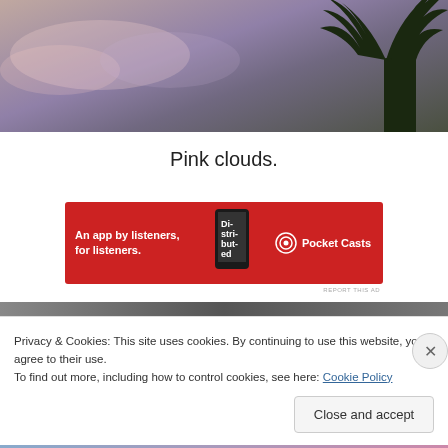[Figure (photo): Photo of pink/purple cloudy sky at dusk with palm trees silhouetted on the right side]
Pink clouds.
[Figure (infographic): Red advertisement banner for Pocket Casts app: 'An app by listeners, for listeners.' with phone image and Pocket Casts logo]
REPORT THIS AD
[Figure (photo): Partial photo of dark outdoor scene, partially obscured by cookie banner]
Privacy & Cookies: This site uses cookies. By continuing to use this website, you agree to their use.
To find out more, including how to control cookies, see here: Cookie Policy
Close and accept